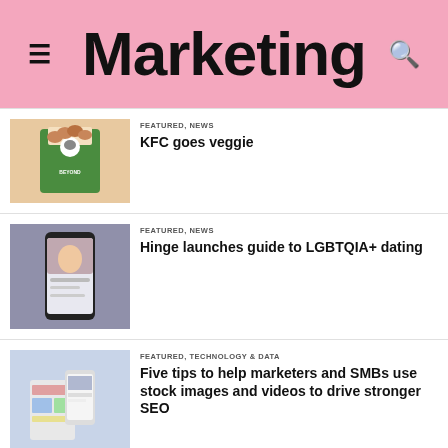Marketing
FEATURED, NEWS
KFC goes veggie
[Figure (photo): KFC Beyond Fried Chicken bucket with nuggets]
FEATURED, NEWS
Hinge launches guide to LGBTQIA+ dating
[Figure (photo): Person holding a smartphone showing a dating app]
FEATURED, TECHNOLOGY & DATA
Five tips to help marketers and SMBs use stock images and videos to drive stronger SEO
[Figure (photo): Person using a tablet with charts and graphs]
FEATURED, TECHNOLOGY & DATA
Move over influencers, brands such as Diane Von Furstenberg are turning to live streaming
[Figure (photo): Three women posing together, one in green outfit]